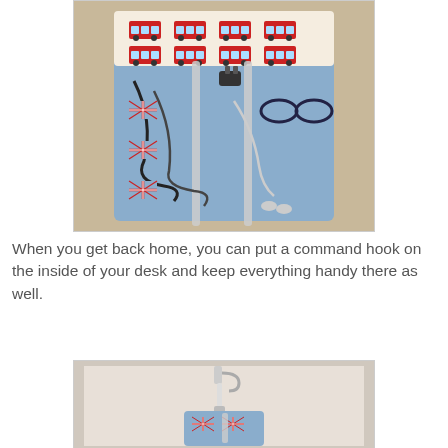[Figure (photo): A fabric organizer roll with Union Jack (British flag) pattern on a blue background, open to reveal cables, earphones, a charger plug, and sunglasses held by elastic straps. The outer flap shows red double-decker bus print fabric.]
When you get back home, you can put a command hook on the inside of your desk and keep everything handy there as well.
[Figure (photo): A fabric organizer with Union Jack pattern hanging from a white command hook mounted on a wall or door, shown folded/rolled up from the front.]